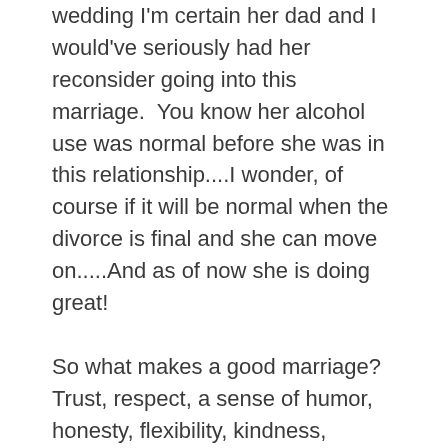wedding I'm certain her dad and I would've seriously had her reconsider going into this marriage.  You know her alcohol use was normal before she was in this relationship....I wonder, of course if it will be normal when the divorce is final and she can move on.....And as of now she is doing great!
So what makes a good marriage? Trust, respect, a sense of humor, honesty, flexibility, kindness, generosity, willingness to help, understanding, compassion. To me those are all important.  Feeling safe too, and she didn't, but we didn't know.
They went for counseling before the wedding day – a few times and had the priest convinced that they had their act together and were good candidates for marriage.  W had us convinced too....I mean there were